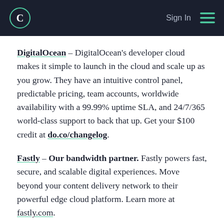Changelog — Sign In
DigitalOcean – DigitalOcean's developer cloud makes it simple to launch in the cloud and scale up as you grow. They have an intuitive control panel, predictable pricing, team accounts, worldwide availability with a 99.99% uptime SLA, and 24/7/365 world-class support to back that up. Get your $100 credit at do.co/changelog.
Fastly – Our bandwidth partner. Fastly powers fast, secure, and scalable digital experiences. Move beyond your content delivery network to their powerful edge cloud platform. Learn more at fastly.com.
Rollbar – We move fast and fix things because of